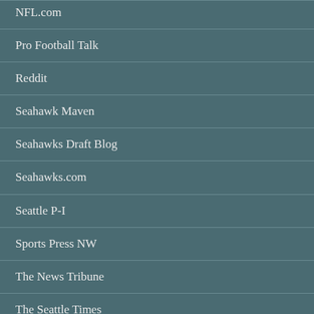NFL.com
Pro Football Talk
Reddit
Seahawk Maven
Seahawks Draft Blog
Seahawks.com
Seattle P-I
Sports Press NW
The News Tribune
The Seattle Times
USA Today
Yahoo Sports